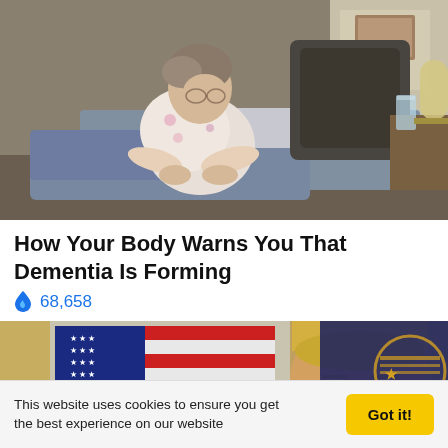[Figure (photo): Elderly woman in floral pajamas sitting on edge of bed, looking down, in a dimly lit bedroom with lamp and glass of water on nightstand]
How Your Body Warns You That Dementia Is Forming
🔥 68,658
[Figure (photo): Man with blonde hair in front of an American flag and a blue flag with gold emblem, partially cropped]
This website uses cookies to ensure you get the best experience on our website